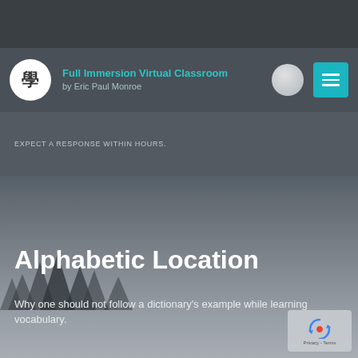[Figure (screenshot): Top dark grey navigation bar area]
Full Immersion Virtual Classroom by Eric Paul Monroe
EXPECT A RESPONSE WITHIN HOURS.
Alphabetic Location
Why one should not follow a dictionary’s example while learning vocabulary.
[Figure (logo): reCAPTCHA badge with circular arrow logo and Privacy - Terms text]